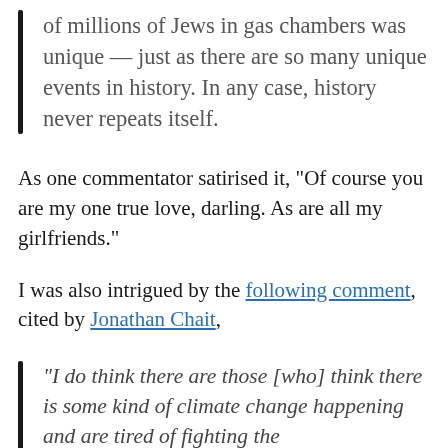of millions of Jews in gas chambers was unique — just as there are so many unique events in history. In any case, history never repeats itself.
As one commentator satirised it, "Of course you are my one true love, darling. As are all my girlfriends."
I was also intrigued by the following comment, cited by Jonathan Chait,
"I do think there are those [who] think there is some kind of climate change happening and are tired of fighting the